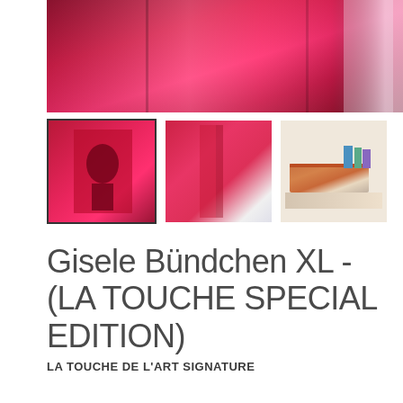[Figure (photo): Large main product photo showing a transparent hot-pink/magenta acrylic book display case on a marble surface]
[Figure (photo): Thumbnail 1 (selected, bordered): Red/pink acrylic display case with a dark silhouette graphic visible inside]
[Figure (photo): Thumbnail 2: Side view of red/magenta acrylic book case with spine detail on marble surface]
[Figure (photo): Thumbnail 3: Red leather-bound book lying flat on a light wooden shelf surface]
Gisele Bündchen XL - (LA TOUCHE SPECIAL EDITION)
LA TOUCHE DE L'ART SIGNATURE